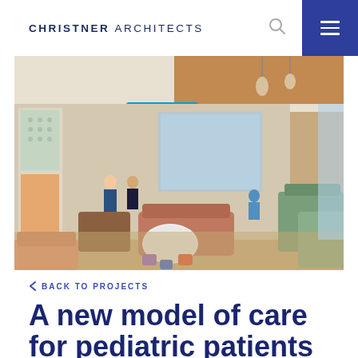CHRISTNER ARCHITECTS
[Figure (photo): Interior of a pediatric hospital waiting area/lobby with colorful seating, decorative wall panels, pendant lighting, and a children's activity table. Signs visible including 'REGISTRATION'. Multiple seating areas with patients and staff visible.]
< BACK TO PROJECTS
A new model of care for pediatric patients